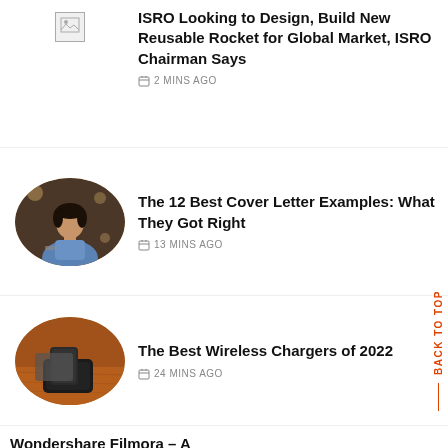[Figure (other): Broken/placeholder thumbnail image for ISRO article]
ISRO Looking to Design, Build New Reusable Rocket for Global Market, ISRO Chairman Says
2 MINS AGO
[Figure (photo): Oval-cropped photo of a young man working on a laptop in a cafe setting]
The 12 Best Cover Letter Examples: What They Got Right
13 MINS AGO
[Figure (photo): Oval-cropped photo of wireless chargers and a smartphone on a wooden surface]
The Best Wireless Chargers of 2022
24 MINS AGO
Wondershare Filmora – A